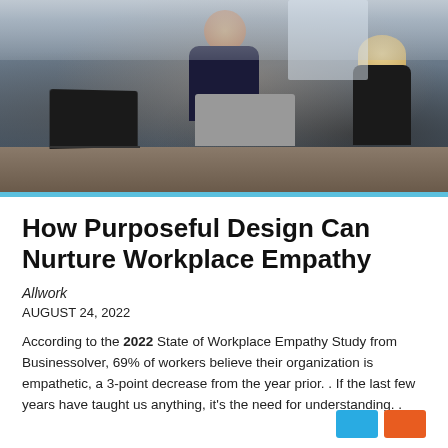[Figure (photo): Two people at a meeting table with laptops; a man facing the camera and a woman with blonde hair facing away, in an office setting.]
How Purposeful Design Can Nurture Workplace Empathy
Allwork
AUGUST 24, 2022
According to the 2022 State of Workplace Empathy Study from Businessolver, 69% of workers believe their organization is empathetic, a 3-point decrease from the year prior. . If the last few years have taught us anything, it's the need for understanding. .